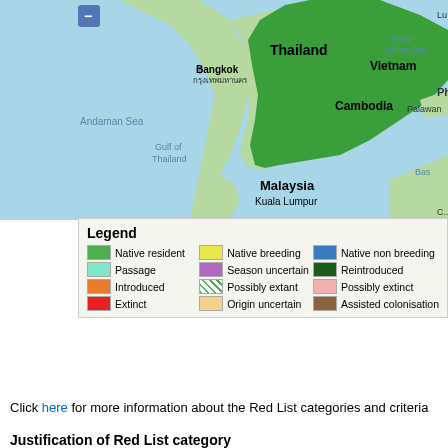[Figure (map): Geographic map showing Southeast Asia including Thailand, Vietnam, Cambodia, Malaysia, with Bangkok marked. Green shading indicates species range over Vietnam/Cambodia area. Shows South China Sea, Andaman Sea, Gulf of Thailand, Palawan area.]
Legend
Native resident | Native breeding | Native non breeding
Passage | Season uncertain | Reintroduced
Introduced | Possibly extant | Possibly extinct
Extinct | Origin uncertain | Assisted colonisation
Click here for more information about the Red List categories and criteria
Justification of Red List category
This species has a very large range, and hence does not approach the thresholds for Vulnerable under the range size criterion (Extent of Occurrence <20,000 km2 combined with a declining or fluctuating range size, habitat extent/quality, or population size and a small number of locations or severe fragmentation). Despite the fact that the population trend appears to be decreasing, the decline is not believed to be sufficiently rapid to approach the threshold for